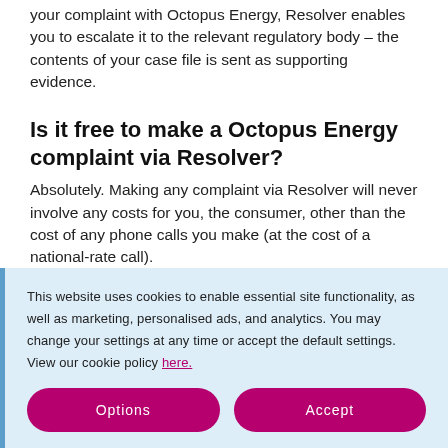your complaint with Octopus Energy, Resolver enables you to escalate it to the relevant regulatory body – the contents of your case file is sent as supporting evidence.
Is it free to make a Octopus Energy complaint via Resolver?
Absolutely. Making any complaint via Resolver will never involve any costs for you, the consumer, other than the cost of any phone calls you make (at the cost of a national-rate call).
Contact details
This website uses cookies to enable essential site functionality, as well as marketing, personalised ads, and analytics. You may change your settings at any time or accept the default settings. View our cookie policy here.